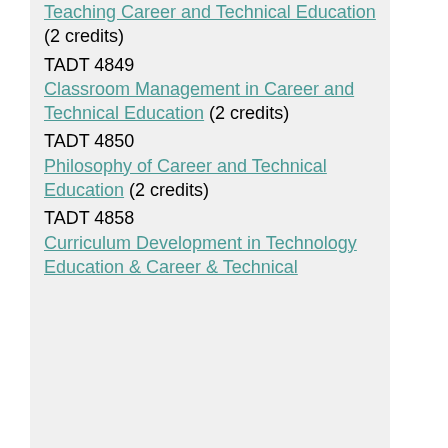Teaching Career and Technical Education (2 credits)
TADT 4849 Classroom Management in Career and Technical Education (2 credits)
TADT 4850 Philosophy of Career and Technical Education (2 credits)
TADT 4858 Curriculum Development in Technology Education & Career & Technical